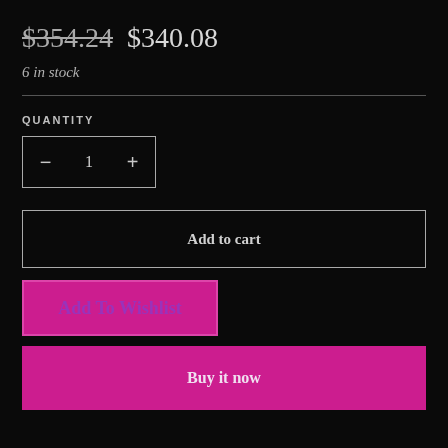$354.24 $340.08
6 in stock
QUANTITY
- 1 +
Add to cart
Add To Wishlist
Buy it now